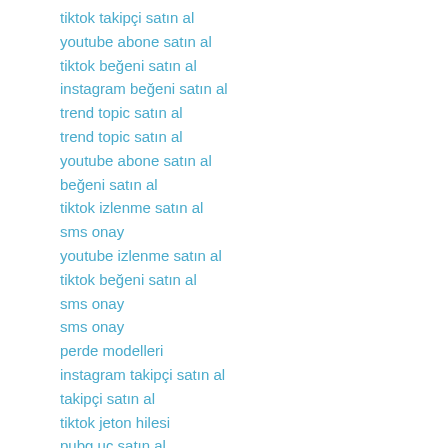tiktok takipçi satın al
youtube abone satın al
tiktok beğeni satın al
instagram beğeni satın al
trend topic satın al
trend topic satın al
youtube abone satın al
beğeni satın al
tiktok izlenme satın al
sms onay
youtube izlenme satın al
tiktok beğeni satın al
sms onay
sms onay
perde modelleri
instagram takipçi satın al
takipçi satın al
tiktok jeton hilesi
pubg uc satın al
sultanbet
marsbahis
betboo